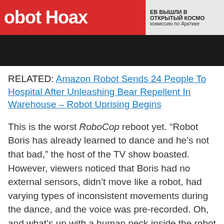[Figure (screenshot): A composite image showing a red banner with partial text 'obot Hoax', Russian news text on the right, and a dark strip below with what appears to be a robot costume partially visible.]
RELATED: Amazon Robot Sends 24 People To Hospital After Unleashing Bear Repellent In Warehouse – Robot Uprising Begins
This is the worst RoboCop reboot yet. “Robot Boris has already learned to dance and he’s not that bad,” the host of the TV show boasted. However, viewers noticed that Boris had no external sensors, didn’t move like a robot, had varying types of inconsistent movements during the dance, and the voice was pre-recorded. Oh, and what’s up with a human neck inside the robot suit?